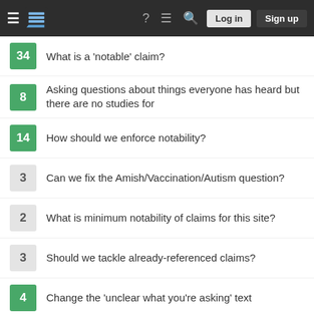Stack Exchange navigation bar with Log in and Sign up buttons
34 — What is a 'notable' claim?
8 — Asking questions about things everyone has heard but there are no studies for
14 — How should we enforce notability?
3 — Can we fix the Amish/Vaccination/Autism question?
2 — What is minimum notability of claims for this site?
3 — Should we tackle already-referenced claims?
4 — Change the 'unclear what you're asking' text
Your privacy
By clicking "Accept all cookies", you agree Stack Exchange can store cookies on your device and disclose information in accordance with our Cookie Policy.
Accept all cookies | Customize settings
45 — FAQ: Must all questions be notable?